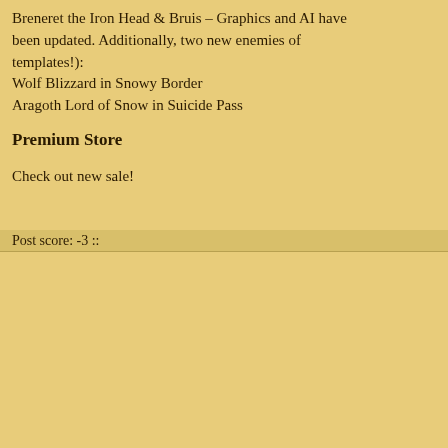Breneret the Iron Head & Bruis – Graphics and AI have been updated. Additionally, two new enemies of (templates!):
Wolf Blizzard in Snowy Border
Aragoth Lord of Snow in Suicide Pass
Premium Store
Check out new sale!
Post score: -3 ::
[Figure (screenshot): Pixel art RPG character avatar of Casidias with HP bar below]
Casidias
Administrator
[Figure (screenshot): RPG game scene showing a graveyard/forest area with skeletons and stone monuments, pixel art style]